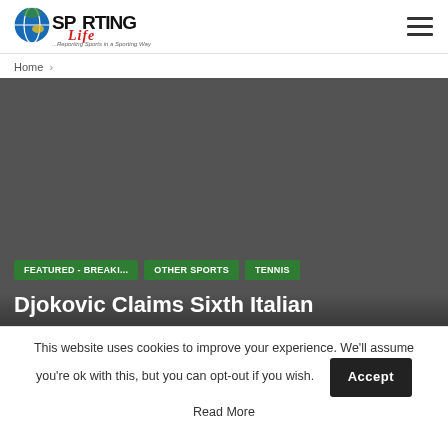[Figure (logo): Sporting Life logo with globe icon and red script 'Life' text]
Home >
[Figure (photo): Dark gray hero image background for article]
FEATURED - BREAKI...   OTHER SPORTS   TENNIS
Djokovic Claims Sixth Italian
This website uses cookies to improve your experience. We'll assume you're ok with this, but you can opt-out if you wish.
Accept
Read More